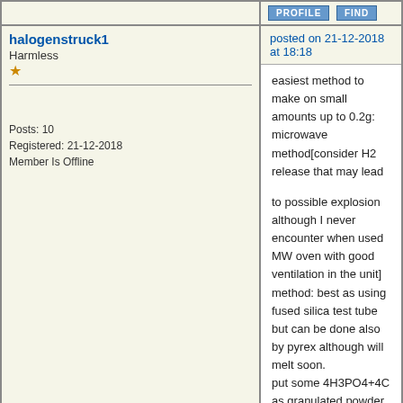[Figure (screenshot): Forum post buttons: PROFILE and FIND]
halogenstruck1
Harmless
*
Posts: 10
Registered: 21-12-2018
Member Is Offline
posted on 21-12-2018 at 18:18
easiest method to make on small amounts up to 0.2g: microwave method[consider H2 release that may lead

to possible explosion although I never encounter when used MW oven with good ventilation in the unit] method: best as using fused silica test tube but can be done also by pyrex although will melt soon.
put some 4H3PO4+4C as granulated powder at the bottom of test tube. push a small piece of rock wool or

aluminosilicate ceramic blanket mat or even glasswool on the H3PO4/C mix but not pressing and leave it a bit

loose. piece of wool should not be thick to prevent P4 vapour and released gasses to pass through.
for best results, end of test tube should be wrapped in glasswool or rockwool or ... externally. this helps as

thermal insulation as MW waves pass it and make the charcoal mix inside hot but heat insulation prevents heat

to go out and this lead to easily increasing T.
then put this test tube upside down inside a metallic bowl(bottom) filled with little water[test tube end should be

at water and no air can go inside but just little bit more